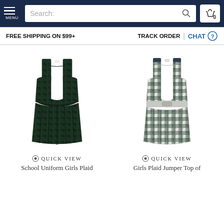MENU | Search: | 0
FREE SHIPPING ON $99+   TRACK ORDER | CHAT
[Figure (photo): School uniform girls plaid jumper dress, navy/dark green plaid, sleeveless, pleated skirt]
QUICK VIEW
School Uniform Girls Plaid
[Figure (photo): Girls Plaid Jumper Top, white/green plaid, sleeveless, with belt detail]
QUICK VIEW
Girls Plaid Jumper Top of